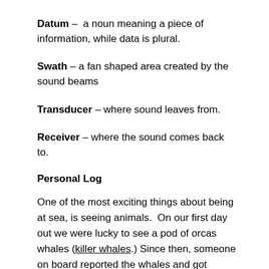Datum – a noun meaning a piece of information, while data is plural.
Swath – a fan shaped area created by the sound beams
Transducer – where sound leaves from.
Receiver – where the sound comes back to.
Personal Log
One of the most exciting things about being at sea, is seeing animals. On our first day out we were lucky to see a pod of orcas whales (killer whales.) Since then, someone on board reported the whales and got information back from NOAA Fisheries about whales they could identify from the pictures sent. We found out that whale A4, named Sonora, and one of her four offspring A46, named